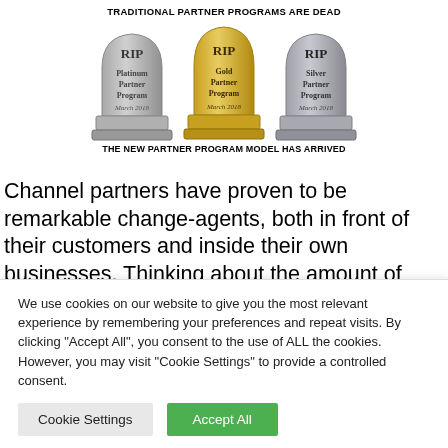[Figure (illustration): Three tombstone-shaped gravestones labeled RIP for Platinum Partner Program, Gold Partner Program, and Silver Partner Program, all dated March 2018. Above the image: 'TRADITIONAL PARTNER PROGRAMS ARE DEAD'. Below: 'THE NEW PARTNER PROGRAM MODEL HAS ARRIVED'.]
Channel partners have proven to be remarkable change-agents, both in front of their customers and inside their own businesses. Thinking about the amount of churn over the past 35 years can be downright dizzying
We use cookies on our website to give you the most relevant experience by remembering your preferences and repeat visits. By clicking "Accept All", you consent to the use of ALL the cookies. However, you may visit "Cookie Settings" to provide a controlled consent.
Cookie Settings | Accept All